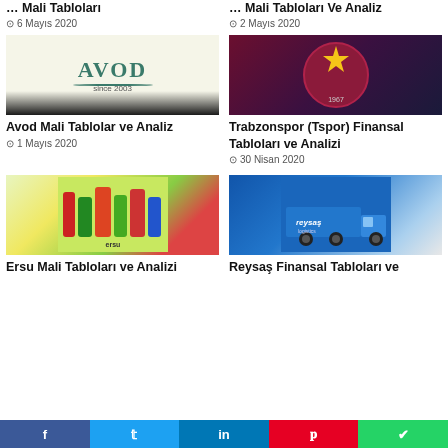... Mali Tabloları
6 Mayıs 2020
... Mali Tabloları Ve Analiz
2 Mayıs 2020
[Figure (logo): AVOD since 2003 logo on light background with dark gradient bottom]
Avod Mali Tablolar ve Analiz
1 Mayıs 2020
[Figure (photo): Trabzonspor football club logo/crest on dark purple/navy fabric background]
Trabzonspor (Tspor) Finansal Tabloları ve Analizi
30 Nisan 2020
[Figure (photo): Ersu brand fruit juice products and jars displayed together]
[Figure (photo): Reysas logistics blue truck/semi-trailer]
Ersu Mali Tabloları ve Analizi
Reysaş Finansal Tabloları ve
f  t  in  Pinterest  WhatsApp